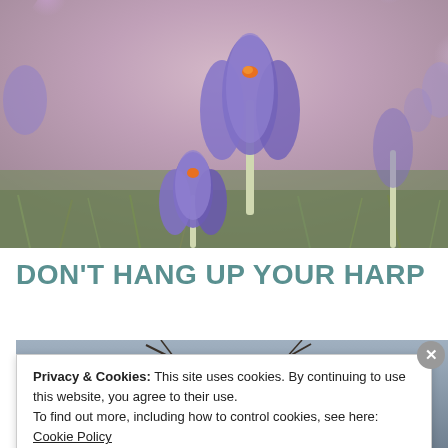[Figure (photo): Close-up photo of purple crocus flowers with green grass in soft-focus background, warm bokeh pink/mauve tones]
DON'T HANG UP YOUR HARP
[Figure (photo): Partial photo of bare tree branches against a muted sky, partially obscured by cookie consent banner]
Privacy & Cookies: This site uses cookies. By continuing to use this website, you agree to their use.
To find out more, including how to control cookies, see here: Cookie Policy
Close and accept